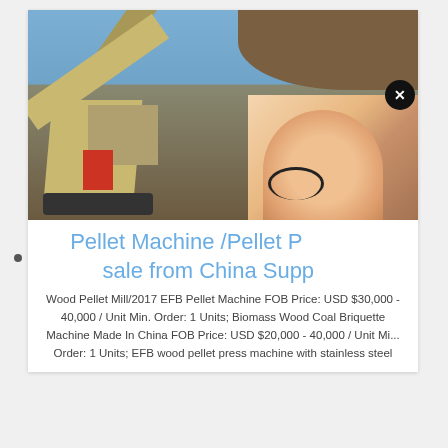[Figure (photo): Excavator and heavy machinery at a construction/mining site with dirt and blue sky background]
[Figure (photo): Customer service representative popup overlay showing a woman with headset, 'Have any requests, click here' text, Quote button, chat bubble button, Enquiry section, and limingjlmofen@sina.com email]
Pellet Machine /Pellet Press for sale from China Supplier
Wood Pellet Mill/2017 EFB Pellet Machine FOB Price: USD $30,000 - 40,000 / Unit Min. Order: 1 Units; Biomass Wood Coal Briquette Machine Made In China FOB Price: USD $20,000 - 40,000 / Unit Min. Order: 1 Units; EFB wood pellet press machine with stainless steel